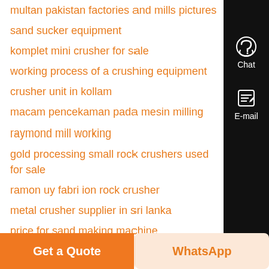multan pakistan factories and mills pictures
sand sucker equipment
komplet mini crusher for sale
working process of a crushing equipment
crusher unit in kollam
macam pencekaman pada mesin milling
raymond mill working
gold processing small rock crushers used for sale
ramon uy fabri ion rock crusher
metal crusher supplier in sri lanka
price for sand making machine
blake jaw crusher setting adjustment
price of german rock crusher
Latest...
Get a Quote
WhatsApp